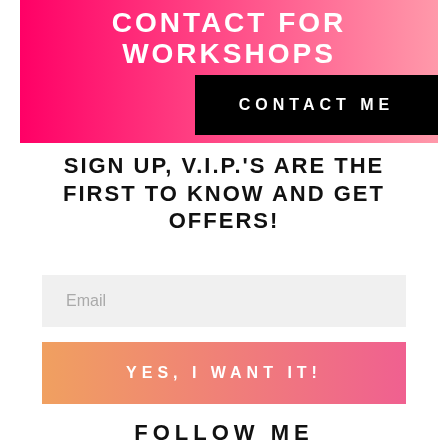[Figure (infographic): Pink-to-peach gradient banner with white bold uppercase text reading CONTACT FOR WORKSHOPS, overlaid with a black rectangle button labeled CONTACT ME]
SIGN UP, V.I.P.'S ARE THE FIRST TO KNOW AND GET OFFERS!
[Figure (screenshot): Light grey email input field with placeholder text Email]
[Figure (infographic): Gradient button from peach to pink with white uppercase text YES, I WANT IT!]
FOLLOW ME